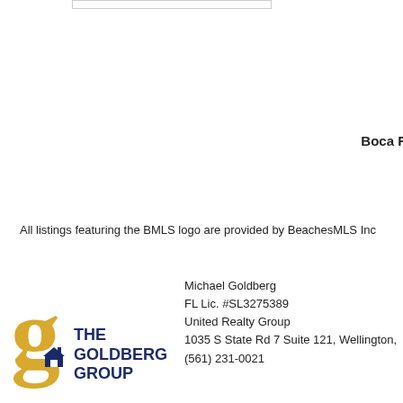Boca Raton Re
All listings featuring the BMLS logo are provided by BeachesMLS Inc
[Figure (logo): The Goldberg Group logo with gold G and navy text reading THE GOLDBERG GROUP]
Michael Goldberg
FL Lic. #SL3275389
United Realty Group
1035 S State Rd 7 Suite 121, Wellington,
(561) 231-0021